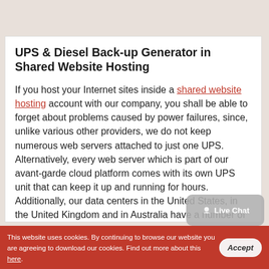UPS & Diesel Back-up Generator in Shared Website Hosting
If you host your Internet sites inside a shared website hosting account with our company, you shall be able to forget about problems caused by power failures, since, unlike various other providers, we do not keep numerous web servers attached to just one UPS. Alternatively, every web server which is part of our avant-garde cloud platform comes with its own UPS unit that can keep it up and running for hours. Additionally, our data centers in the United States, in the United Kingdom and in Australia have a number of generators which boot up for minutes and that are able to power all of the web servers for an extensive
This website uses cookies. By continuing to browse our website you are agreeing to download our cookies. Find out more about this here.